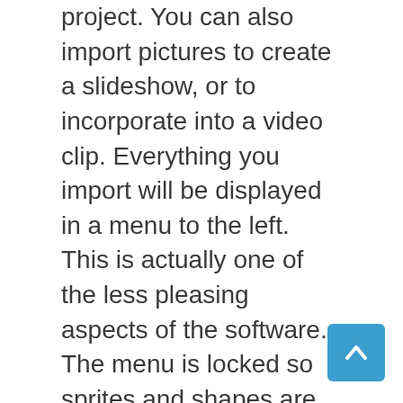project. You can also import pictures to create a slideshow, or to incorporate into a video clip. Everything you import will be displayed in a menu to the left. This is actually one of the less pleasing aspects of the software. The menu is locked so sprites and shapes are at the top; you have to scroll down to get to your videos. One thing you won't be able to do is capture video from the web. To do that, you'll need software like the 4K Video Downloader. It can capture videos from YouTube, Facebook, and other popular sites, and save them in a usable format.
As you're editing, you'll see a preview panel above the timeline. As you move the cursor along the timeline, this panel will show you whatever is on screen. That said, there's no full-screen preview.